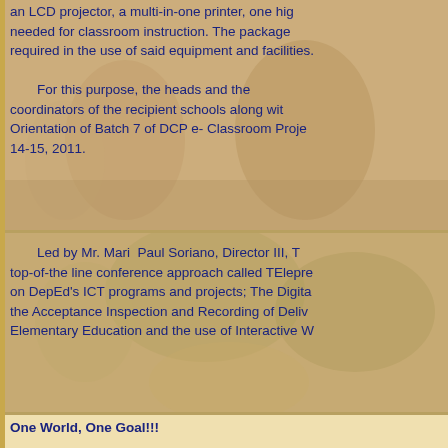an LCD projector, a multi-in-one printer, one high- needed for classroom instruction. The package required in the use of said equipment and facilities.
For this purpose, the heads and the coordinators of the recipient schools along with Orientation of Batch 7 of DCP e- Classroom Proje 14-15, 2011.
[Figure (photo): Sepia-toned background photo of people sitting outdoors, used as decorative background for the top section of the page.]
[Figure (photo): Sepia-toned background photo of people outdoors near trees, used as decorative background for the middle section of the page.]
Led by Mr. Mari Paul Soriano, Director III, T top-of-the line conference approach called TElepre on DepEd's ICT programs and projects; The Digita the Acceptance Inspection and Recording of Deliv Elementary Education and the use of Interactive W
One World, One Goal!!!